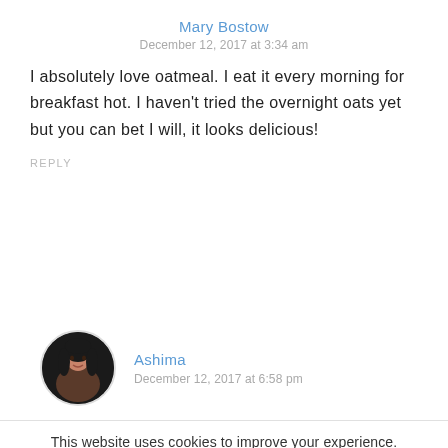Mary Bostow
December 12, 2017 at 3:34 am
I absolutely love oatmeal. I eat it every morning for breakfast hot. I haven't tried the overnight oats yet but you can bet I will, it looks delicious!
REPLY
[Figure (photo): Circular avatar photo of Ashima, a woman with dark hair]
Ashima
December 12, 2017 at 6:58 pm
This website uses cookies to improve your experience. Please read our Privacy Policy to understand how we process your data and use cookies. Accept